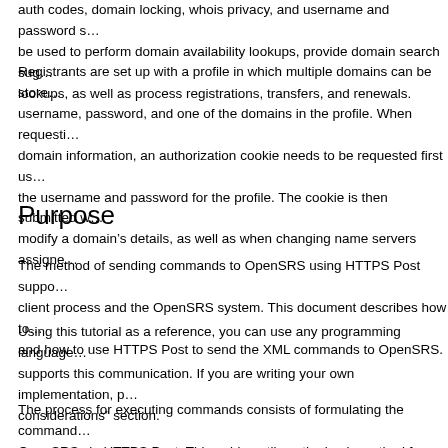auth codes, domain locking, whois privacy, and username and password s... be used to perform domain availability lookups, provide domain search sug... lookups, as well as process registrations, transfers, and renewals.
Registrants are set up with a profile in which multiple domains can be store... username, password, and one of the domains in the profile. When requesti... domain information, an authorization cookie needs to be requested first us... the username and password for the profile. The cookie is then submitted w... modify a domain's details, as well as when changing name servers assigne...
Purpose
The method of sending commands to OpenSRS using HTTPS Post suppo... client process and the OpenSRS system. This document describes how to... and how to use HTTPS Post to send the XML commands to OpenSRS.
Using this tutorial as a reference, you can use any programming language... supports this communication. If you are writing your own implementation, p... considerations" section.
The process for executing commands consists of formulating the command... OpenSRS via HTTPS Post. This guide outlines the basic method for creati...